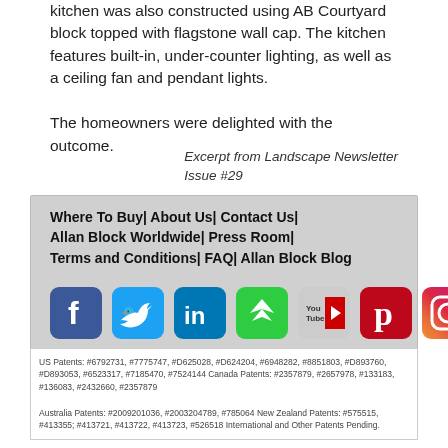kitchen was also constructed using AB Courtyard block topped with flagstone wall cap. The kitchen features built-in, under-counter lighting, as well as a ceiling fan and pendant lights.

The homeowners were delighted with the outcome.
Excerpt from Landscape Newsletter Issue #29
Where To Buy| About Us| Contact Us| Allan Block Worldwide| Press Room| Terms and Conditions| FAQ| Allan Block Blog
[Figure (infographic): Social media icons row 1: Facebook, Twitter, LinkedIn, Hootsuite, YouTube, Pinterest, Instagram]
[Figure (infographic): Social media icons row 2: Google+ (colorful plus), Blogger (orange B)]
US Patents: #6792731, #7775747, #D625028, #D624204, #6948282, #8851803, #D893760, #D893053, #6523317, #7185470, #7524144 Canada Patents: #2357879, #2657978, #133183, #136083, #2432660, #2357879
Australia Patents: #2009201036, #2003204789, #785064 New Zealand Patents: #575515, #413355; #413721, #413722, #413723, #526518 International and Other Patents Pending.